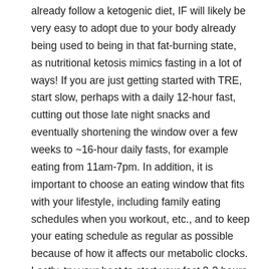already follow a ketogenic diet, IF will likely be very easy to adopt due to your body already being used to being in that fat-burning state, as nutritional ketosis mimics fasting in a lot of ways! If you are just getting started with TRE, start slow, perhaps with a daily 12-hour fast, cutting out those late night snacks and eventually shortening the window over a few weeks to ~16-hour daily fasts, for example eating from 11am-7pm. In addition, it is important to choose an eating window that fits with your lifestyle, including family eating schedules when you workout, etc., and to keep your eating schedule as regular as possible because of how it affects our metabolic clocks. Lastly, try your best to start your fast 2-3 hours before your usual bed time.